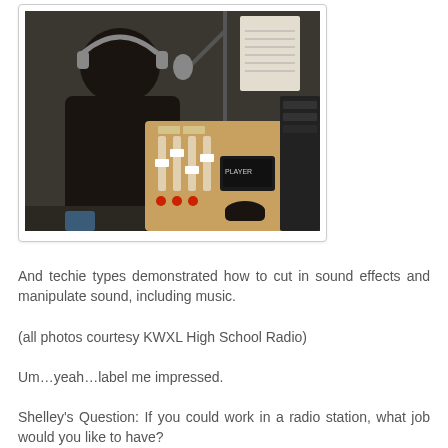[Figure (photo): A person with headphones sitting at a radio broadcast console with faders, knobs, and a microphone on a stand. Sheet music is visible on the console. Radio equipment is visible in the background.]
And techie types demonstrated how to cut in sound effects and manipulate sound, including music.
(all photos courtesy KWXL High School Radio)
Um…yeah…label me impressed.
Shelley's Question: If you could work in a radio station, what job would you like to have?